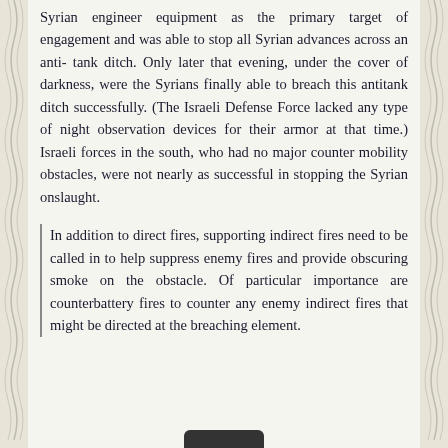Syrian engineer equipment as the primary target of engagement and was able to stop all Syrian advances across an anti- tank ditch. Only later that evening, under the cover of darkness, were the Syrians finally able to breach this antitank ditch successfully. (The Israeli Defense Force lacked any type of night observation devices for their armor at that time.) Israeli forces in the south, who had no major counter mobility obstacles, were not nearly as successful in stopping the Syrian onslaught.
In addition to direct fires, supporting indirect fires need to be called in to help suppress enemy fires and provide obscuring smoke on the obstacle. Of particular importance are counterbattery fires to counter any enemy indirect fires that might be directed at the breaching element.